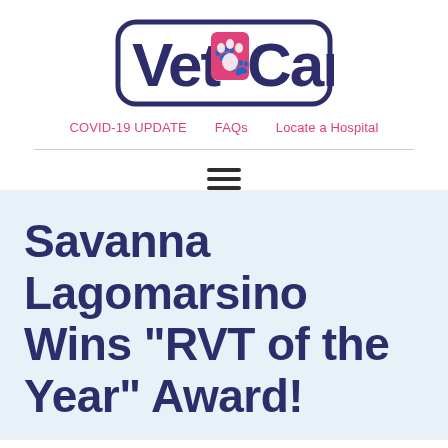[Figure (logo): VetnCare logo with paw print icon, dark navy and pink colors]
COVID-19 UPDATE   FAQs   Locate a Hospital
Savanna Lagomarsino Wins "RVT of the Year" Award!